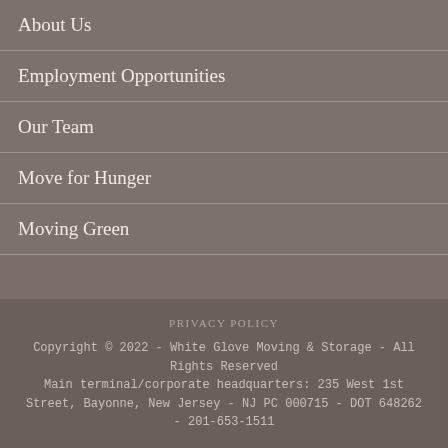About Us
Employment Opportunities
Our Team
Move for Hunger
Moving Green
PRIVACY POLICY
Copyright © 2022 - White Glove Moving & Storage - All Rights Reserved
Main terminal/corporate headquarters: 235 West 1st Street, Bayonne, New Jersey - NJ PC 000715 - DOT 648262 - 201-653-1511